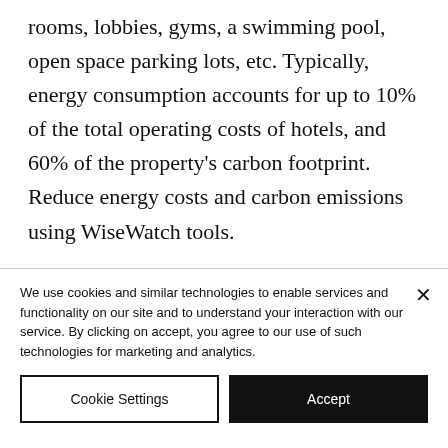rooms, lobbies, gyms, a swimming pool, open space parking lots, etc. Typically, energy consumption accounts for up to 10% of the total operating costs of hotels, and 60% of the property's carbon footprint. Reduce energy costs and carbon emissions using WiseWatch tools.
We use cookies and similar technologies to enable services and functionality on our site and to understand your interaction with our service. By clicking on accept, you agree to our use of such technologies for marketing and analytics.
Cookie Settings
Accept